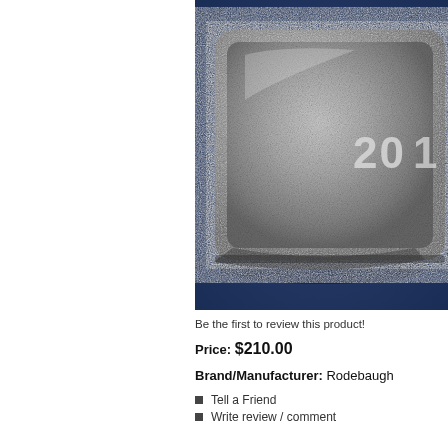[Figure (photo): Close-up photograph of a silver bullion bar with engraved text '20' visible, resting on a dark blue background. The bar has a textured, slightly tarnished silver surface with rounded corners.]
Be the first to review this product!
Price: $210.00
Brand/Manufacturer: Rodebaugh
Tell a Friend
Write review / comment